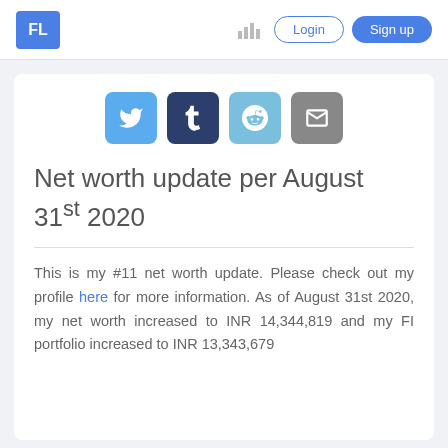FL | Login | Sign up
[Figure (other): Social sharing icons: Twitter (blue), Tumblr (dark navy), Reddit (light blue), Email (gray)]
Net worth update per August 31st 2020
This is my #11 net worth update. Please check out my profile here for more information. As of August 31st 2020, my net worth increased to INR 14,344,819 and my FI portfolio increased to INR 13,343,679